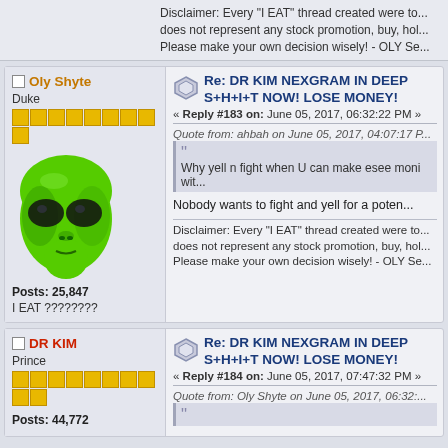Disclaimer: Every "I EAT" thread created were to... does not represent any stock promotion, buy, ho... Please make your own decision wisely! - OLY Se...
Re: DR KIM NEXGRAM IN DEEP S+H+I+T NOW! LOSE MONEY!
« Reply #183 on: June 05, 2017, 06:32:22 PM »
Oly Shyte
Duke
Posts: 25,847
I EAT ????????
[Figure (illustration): Green alien head avatar]
Quote from: ahbah on June 05, 2017, 04:07:17 P...
Why yell n fight when U can make esee moni wit...
Nobody wants to fight and yell for a poten...
Disclaimer: Every "I EAT" thread created were to... does not represent any stock promotion, buy, ho... Please make your own decision wisely! - OLY Se...
Re: DR KIM NEXGRAM IN DEEP S+H+I+T NOW! LOSE MONEY!
« Reply #184 on: June 05, 2017, 07:47:32 PM »
DR KIM
Prince
Posts: 44,772
Quote from: Oly Shyte on June 05, 2017, 06:32:...